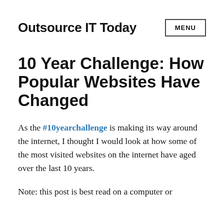Outsource IT Today
10 Year Challenge: How Popular Websites Have Changed
As the #10yearchallenge is making its way around the internet, I thought I would look at how some of the most visited websites on the internet have aged over the last 10 years.
Note: this post is best read on a computer or